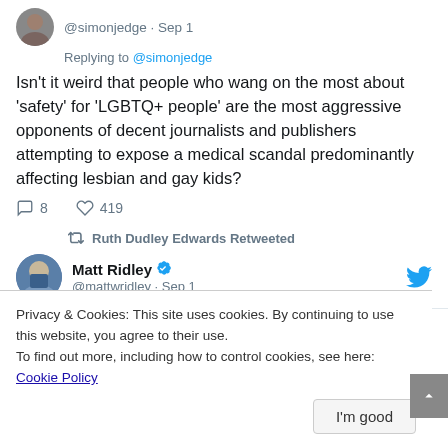@simonjedge · Sep 1
Replying to @simonjedge
Isn't it weird that people who wang on the most about 'safety' for 'LGBTQ+ people' are the most aggressive opponents of decent journalists and publishers attempting to expose a medical scandal predominantly affecting lesbian and gay kids?
8 replies · 419 likes
Ruth Dudley Edwards Retweeted
Matt Ridley @mattwridley · Sep 1
Privacy & Cookies: This site uses cookies. By continuing to use this website, you agree to their use.
To find out more, including how to control cookies, see here: Cookie Policy
I'm good